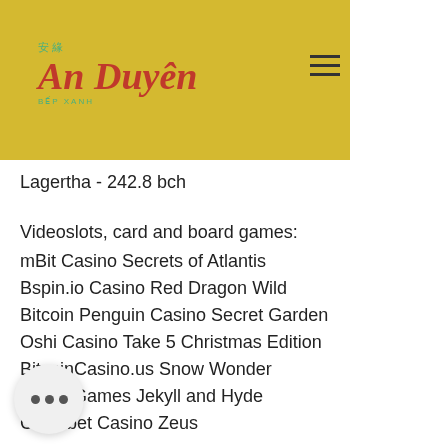[Figure (logo): An Duyen restaurant logo on yellow/gold banner background with hamburger menu icon]
Lagertha - 242.8 bch
Videoslots, card and board games:
mBit Casino Secrets of Atlantis
Bspin.io Casino Red Dragon Wild
Bitcoin Penguin Casino Secret Garden
Oshi Casino Take 5 Christmas Edition
BitcoinCasino.us Snow Wonder
CryptoGames Jekyll and Hyde
Cloudbet Casino Zeus
OneHash All Ways Fruits
...no Casino Legends of Greece
...asino Wild Melon
Betchan Casino Jewel Blast